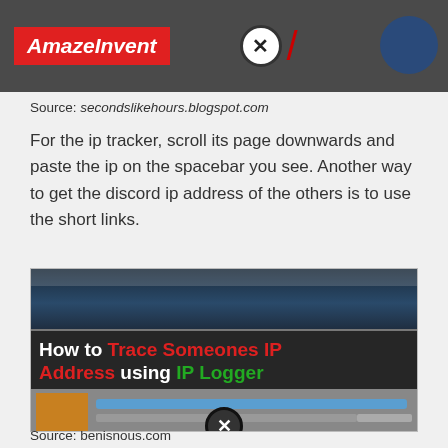[Figure (screenshot): Screenshot of AmazeInvent website header with logo on dark background, close button, red slash, and blue circular icon]
Source: secondslikehours.blogspot.com
For the ip tracker, scroll its page downwards and paste the ip on the spacebar you see. Another way to get the discord ip address of the others is to use the short links.
[Figure (screenshot): Screenshot of a webpage showing 'How to Trace Someones IP Address using IP Logger' with white, red, and green text overlay on dark background, with blurred content below]
Source: benisnous.com